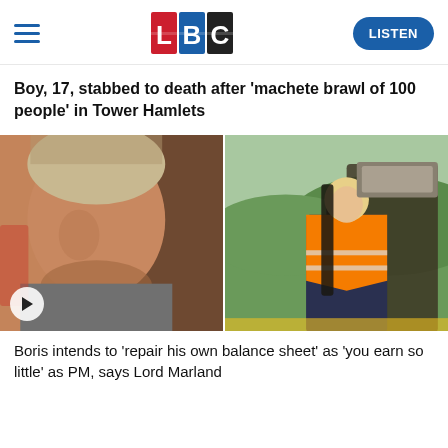LBC — LISTEN
Boy, 17, stabbed to death after 'machete brawl of 100 people' in Tower Hamlets
[Figure (photo): Two side-by-side photos: left shows an older man with grey-blonde hair in a video call frame with a play button overlay; right shows Boris Johnson wearing an orange hi-vis vest standing on construction equipment outdoors.]
Boris intends to 'repair his own balance sheet' as 'you earn so little' as PM, says Lord Marland